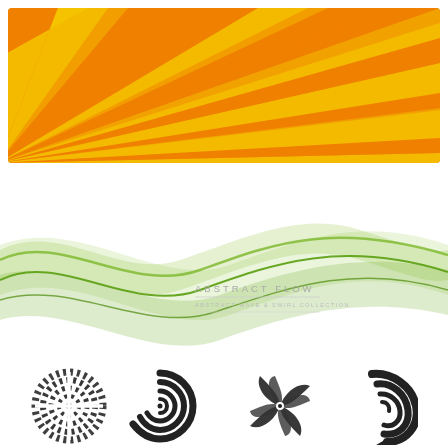[Figure (illustration): Orange and yellow sunburst pattern radiating from bottom-left corner, with alternating orange and golden-yellow rays filling a wide rectangular banner]
[Figure (illustration): Abstract green flowing wave lines on white background with text 'ABSTRACT FLOW' in small spaced gray letters with a small subtitle line beneath]
[Figure (illustration): Four dark gray circular spiral/swirl logo icons arranged in a row at the bottom of the page]